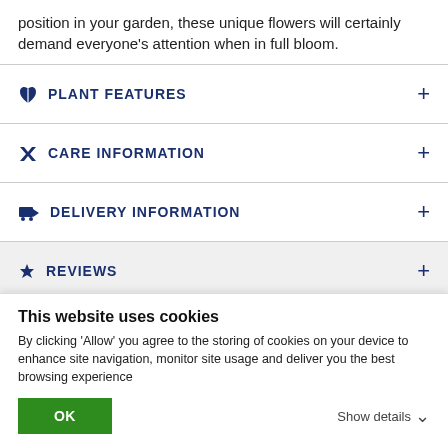position in your garden, these unique flowers will certainly demand everyone's attention when in full bloom.
PLANT FEATURES
CARE INFORMATION
DELIVERY INFORMATION
REVIEWS
This website uses cookies
By clicking 'Allow' you agree to the storing of cookies on your device to enhance site navigation, monitor site usage and deliver you the best browsing experience
OK
Show details